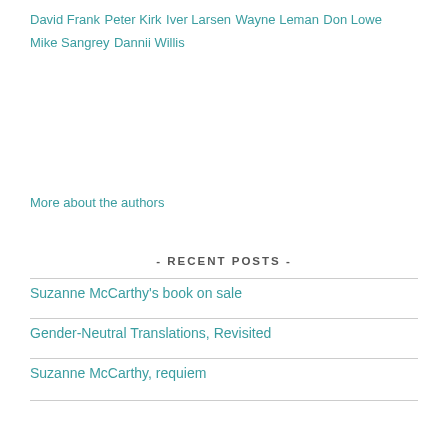David Frank
Peter Kirk
Iver Larsen
Wayne Leman
Don Lowe
Mike Sangrey
Dannii Willis
More about the authors
- RECENT POSTS -
Suzanne McCarthy's book on sale
Gender-Neutral Translations, Revisited
Suzanne McCarthy, requiem